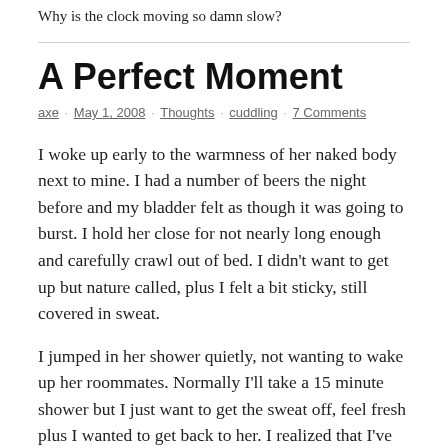Why is the clock moving so damn slow?
A Perfect Moment
axe · May 1, 2008 · Thoughts · cuddling · 7 Comments
I woke up early to the warmness of her naked body next to mine. I had a number of beers the night before and my bladder felt as though it was going to burst. I hold her close for not nearly long enough and carefully crawl out of bed. I didn't want to get up but nature called, plus I felt a bit sticky, still covered in sweat.
I jumped in her shower quietly, not wanting to wake up her roommates. Normally I'll take a 15 minute shower but I just want to get the sweat off, feel fresh plus I wanted to get back to her. I realized that I've been turned on non stop since the night before. (Do you have